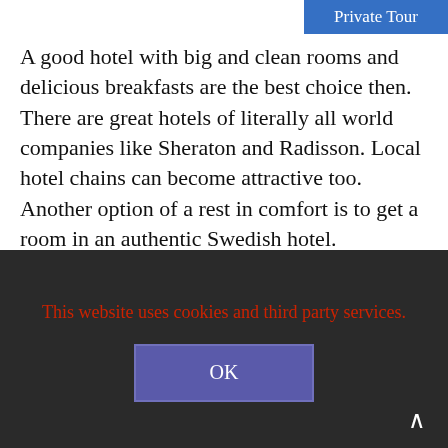Private Tour
A good hotel with big and clean rooms and delicious breakfasts are the best choice then. There are great hotels of literally all world companies like Sheraton and Radisson. Local hotel chains can become attractive too. Another option of a rest in comfort is to get a room in an authentic Swedish hotel.
The best location among all top-level hotels rightfully belongs to Grand Hotel. All famous museums, all great views and all cool bars and clubs will be within walking
This website uses cookies and third party services.
OK